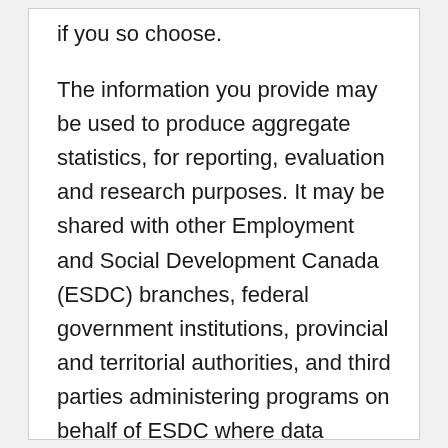if you so choose. The information you provide may be used to produce aggregate statistics, for reporting, evaluation and research purposes. It may be shared with other Employment and Social Development Canada (ESDC) branches, federal government institutions, provincial and territorial authorities, and third parties administering programs on behalf of ESDC where data sharing agreements are in place. In addition, information may be provided to other government or contracted agencies under